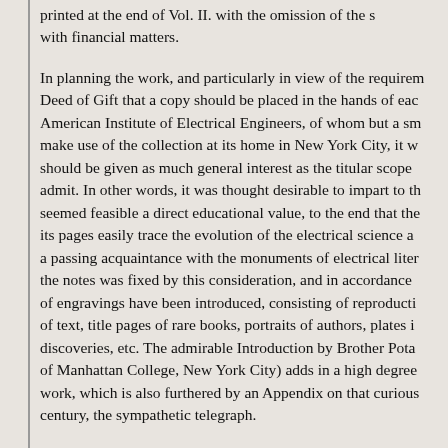printed at the end of Vol. II. with the omission of the s… with financial matters.
In planning the work, and particularly in view of the requirem… century, the sympathetic telegraph.
The chronological order of entries and the division into secti… or art. Moreover, for historical research, and especially in the…